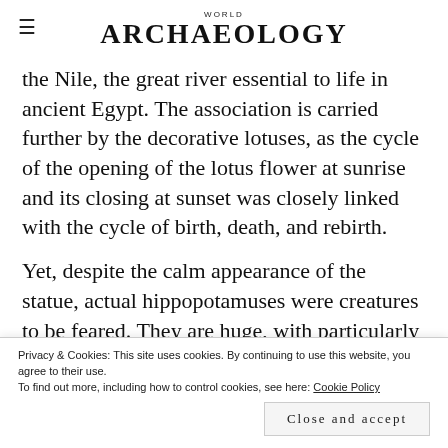WORLD ARCHAEOLOGY
the Nile, the great river essential to life in ancient Egypt. The association is carried further by the decorative lotuses, as the cycle of the opening of the lotus flower at sunrise and its closing at sunset was closely linked with the cycle of birth, death, and rebirth.
Yet, despite the calm appearance of the statue, actual hippopotamuses were creatures to be feared. They are huge, with particularly large mouths and powerful jaws,
Privacy & Cookies: This site uses cookies. By continuing to use this website, you agree to their use.
To find out more, including how to control cookies, see here: Cookie Policy
Close and accept